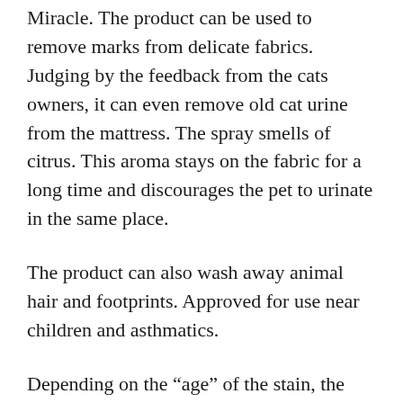Miracle. The product can be used to remove marks from delicate fabrics. Judging by the feedback from the cats owners, it can even remove old cat urine from the mattress. The spray smells of citrus. This aroma stays on the fabric for a long time and discourages the pet to urinate in the same place.
The product can also wash away animal hair and footprints. Approved for use near children and asthmatics.
Depending on the “age” of the stain, the product is applied for a period of 15 minutes to an hour.
Repeated application is allowed, as Stain & Odor Remover has a soft composition that is safe for